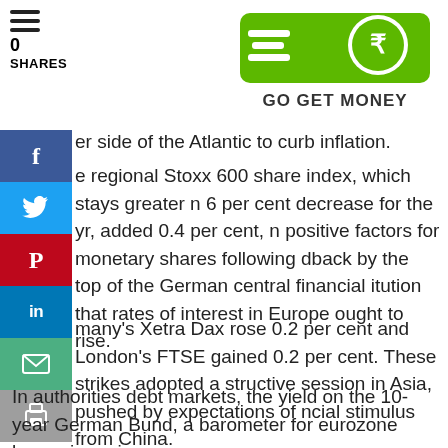0 SHARES
[Figure (logo): Go Get Money logo — green background with rupee symbol and speed lines, bold text GO GET MONEY]
er side of the Atlantic to curb inflation.
e regional Stoxx 600 share index, which stays greater n 6 per cent decrease for the yr, added 0.4 per cent, n positive factors for monetary shares following dback by the top of the German central financial itution that rates of interest in Europe ought to rise.
many's Xetra Dax rose 0.2 per cent and London's FTSE gained 0.2 per cent. These strikes adopted a structive session in Asia, pushed by expectations of ncial stimulus from China.
In authorities debt markets, the yield on the 10-year German Bund, a barometer for eurozone borrowing prices,